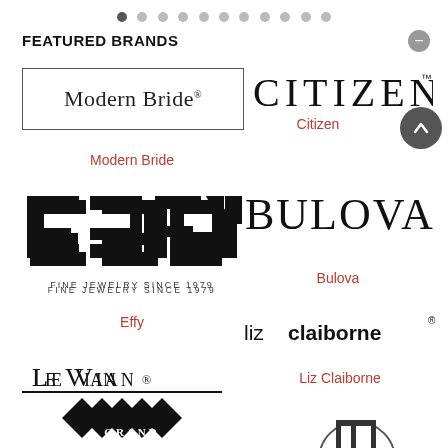[Figure (other): Pagination dots row — 11 circles, first one filled dark, rest light gray]
FEATURED BRANDS
[Figure (logo): Modern Bride logo — text in serif font inside a rectangular border with registered mark]
Modern Bride
[Figure (logo): EFFY logo in bold geometric sans-serif font, with subtitle FINE JEWELRY SINCE 1979]
Effy
[Figure (logo): Le Vian Grand logo in serif caps with decorative diamond/star graphic]
[Figure (logo): CITIZEN wordmark in serif font with TM mark]
Citizen
[Figure (logo): BULOVA wordmark in serif font]
Bulova
[Figure (logo): Liz Claiborne logo — mixed weight sans-serif with registered mark]
Liz Claiborne
[Figure (logo): Circular M logo at bottom right, partial view]